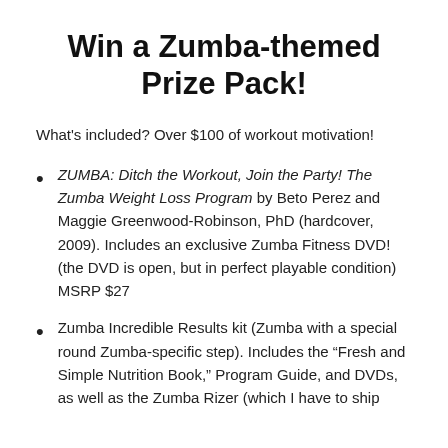Win a Zumba-themed Prize Pack!
What's included? Over $100 of workout motivation!
ZUMBA: Ditch the Workout, Join the Party! The Zumba Weight Loss Program by Beto Perez and Maggie Greenwood-Robinson, PhD (hardcover, 2009). Includes an exclusive Zumba Fitness DVD! (the DVD is open, but in perfect playable condition) MSRP $27
Zumba Incredible Results kit (Zumba with a special round Zumba-specific step). Includes the “Fresh and Simple Nutrition Book,” Program Guide, and DVDs, as well as the Zumba Rizer (which I have to ship